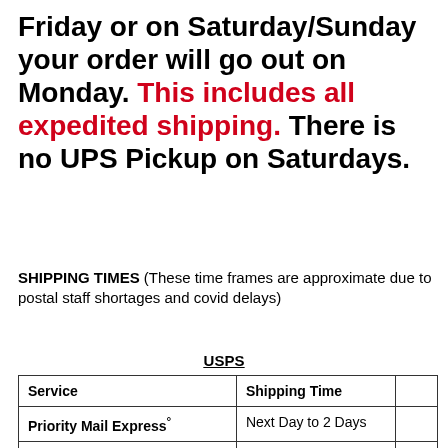Friday or on Saturday/Sunday your order will go out on Monday. This includes all expedited shipping. There is no UPS Pickup on Saturdays.
SHIPPING TIMES (These time frames are approximate due to postal staff shortages and covid delays)
USPS
| Service | Shipping Time |  |
| --- | --- | --- |
| Priority Mail Express° | Next Day to 2 Days |  |
| Priority Mail° | 1–5 Days |  |